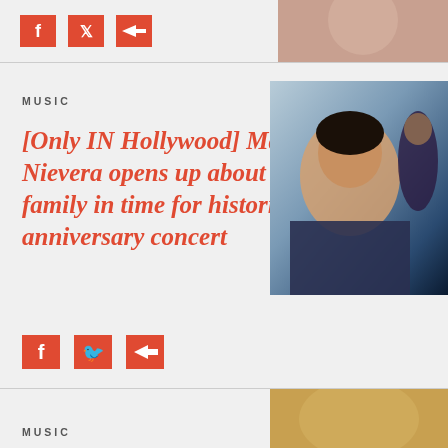[Figure (photo): Partial view of a person in a pink/salmon colored top at the top right corner]
MUSIC
[Only IN Hollywood] Martin Nievera opens up about career, family in time for historic 40th anniversary concert
[Figure (photo): Photo of Martin Nievera, a male Filipino singer, shown in close-up with another figure in the background]
[Figure (infographic): Social share icons: Facebook, Twitter, Share]
MUSIC
[Figure (photo): Partial bottom photo with golden/warm tones]